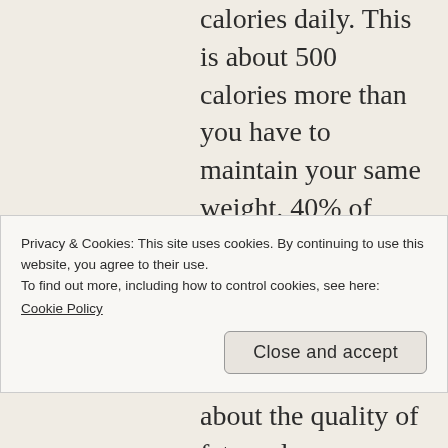calories daily. This is about 500 calories more than you have to maintain your same weight. 40% of these calories should contain carbohydrates while 20% should include fats. You should consume about 1-to-1.Half a dozen times one's body weight in protein every day, remember protein is your building block of muscle. On a dirty bulk you will still want to get at the
Privacy & Cookies: This site uses cookies. By continuing to use this website, you agree to their use.
To find out more, including how to control cookies, see here:
Cookie Policy
about the quality of fats and